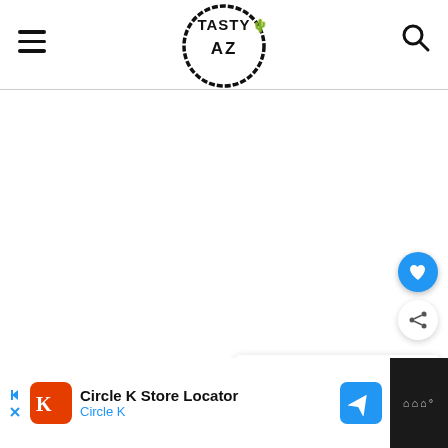TASTY AZ — website header with hamburger menu, logo, and search icon
[Figure (logo): TASTY AZ circular stamp logo with cactus icon, black ink style]
[Figure (infographic): Blue circular heart/like button floating action button]
[Figure (infographic): White circular share button floating action button]
[Figure (screenshot): WHAT'S NEXT card showing thumbnail and title: Los Azulejos Tequila at Th...]
[Figure (infographic): Circle K Store Locator advertisement banner at bottom of page]